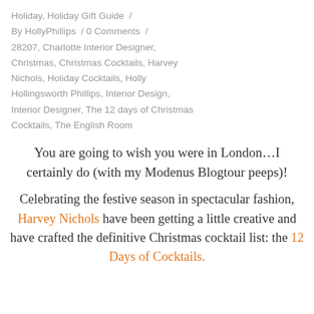Holiday, Holiday Gift Guide / By HollyPhillips / 0 Comments / 28207, Charlotte Interior Designer, Christmas, Christmas Cocktails, Harvey Nichols, Holiday Cocktails, Holly Hollingsworth Phillips, Interior Design, Interior Designer, The 12 days of Christmas Cocktails, The English Room
You are going to wish you were in London…I certainly do (with my Modenus Blogtour peeps)!
Celebrating the festive season in spectacular fashion, Harvey Nichols have been getting a little creative and have crafted the definitive Christmas cocktail list: the 12 Days of Cocktails.